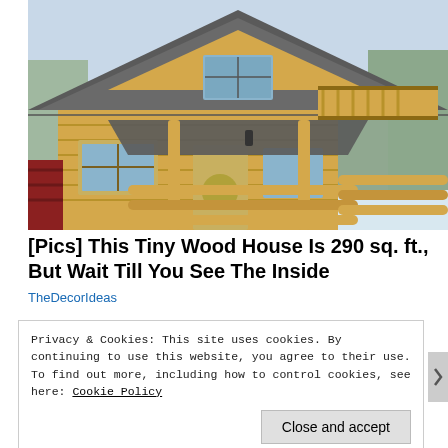[Figure (photo): Exterior of a small log cabin with steep shingled roof, wooden balcony railing, covered porch with log railings, and lantern hanging from porch ceiling. Snow visible on ground. Surrounded by trees.]
[Pics] This Tiny Wood House Is 290 sq. ft., But Wait Till You See The Inside
TheDecorIdeas
Privacy & Cookies: This site uses cookies. By continuing to use this website, you agree to their use.
To find out more, including how to control cookies, see here: Cookie Policy
Close and accept